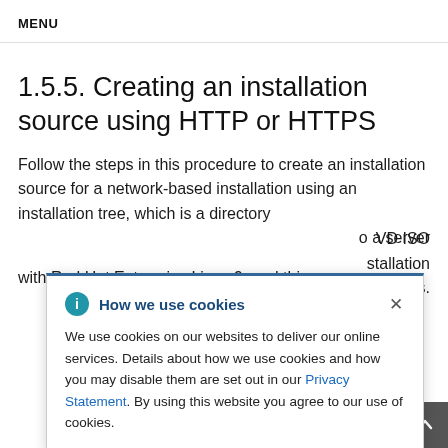MENU
1.5.5. Creating an installation source using HTTP or HTTPS
Follow the steps in this procedure to create an installation source for a network-based installation using an installation tree, which is a directory
D ISO installation s.
How we use cookies

We use cookies on our websites to deliver our online services. Details about how we use cookies and how you may disable them are set out in our Privacy Statement. By using this website you agree to our use of cookies.
o a server
with Red Hat Enterprise Linux 9, and this server